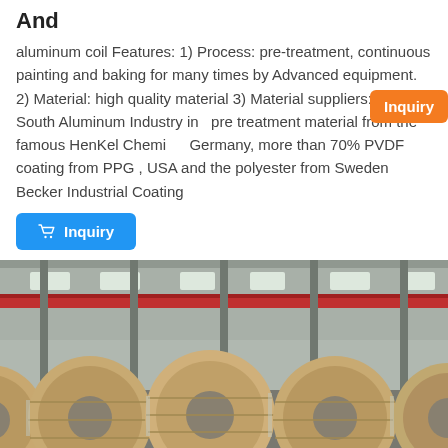And
aluminum coil Features: 1) Process: pre-treatment, continuous painting and baking for many times by Advanced equipment. 2) Material: high quality material 3) Material suppliers: West South Aluminum Industry in pre treatment material from the famous HenKel Chemical Germany, more than 70% PVDF coating from PPG , USA and the polyester from Sweden Becker Industrial Coating
[Figure (other): Orange Inquiry button overlay in top-right of text block]
[Figure (other): Blue Inquiry button with shopping cart icon]
[Figure (photo): Warehouse interior with large aluminum coil rolls wrapped in brown paper, with red overhead crane visible and metal roof structure]